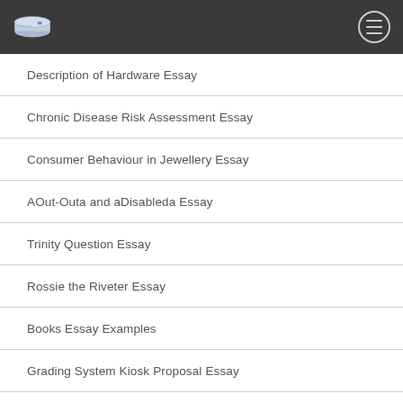Description of Hardware Essay
Chronic Disease Risk Assessment Essay
Consumer Behaviour in Jewellery Essay
AOut-Outa and aDisableda Essay
Trinity Question Essay
Rossie the Riveter Essay
Books Essay Examples
Grading System Kiosk Proposal Essay
Observation of Nature Essay